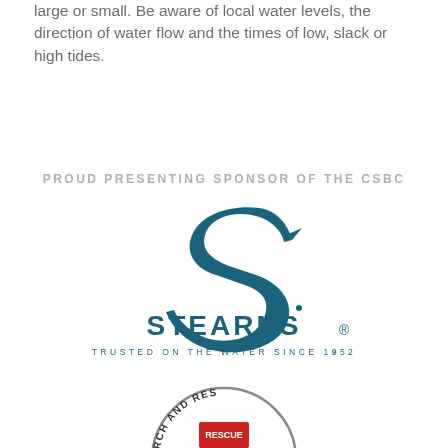large or small. Be aware of local water levels, the direction of water flow and the times of low, slack or high tides.
PROUD PRESENTING SPONSOR OF THE CSBC
[Figure (logo): Stearns logo with stylized S and text 'STEARNS TRUSTED ON THE WATER SINCE 1952']
[Figure (logo): Circular badge partially visible at bottom, text reads 'RCH AND RES' visible (Search and Rescue)]